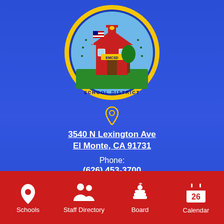[Figure (logo): EMCSD School District circular logo with schoolhouse, American flag, and wreath border on blue background]
3540 N Lexington Ave
El Monte, CA 91731
Phone: (626) 453-3700
[Figure (infographic): Social media icons: search, Facebook, Twitter, Instagram in yellow/white on blue background]
[Figure (infographic): Bottom red navigation bar with four items: Schools, Staff Directory, Board, Calendar with white icons]